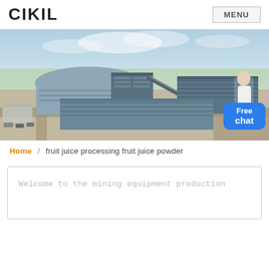CIKIL   MENU
[Figure (photo): Aerial view of large industrial factory/warehouse complex with multiple blue steel-roofed buildings, surrounded by roads and green fields under a cloudy sky. A customer service representative figure is overlaid in the lower right with a 'Free chat' badge.]
Home / fruit juice processing fruit juice powder
Welcome to the mining equipment production